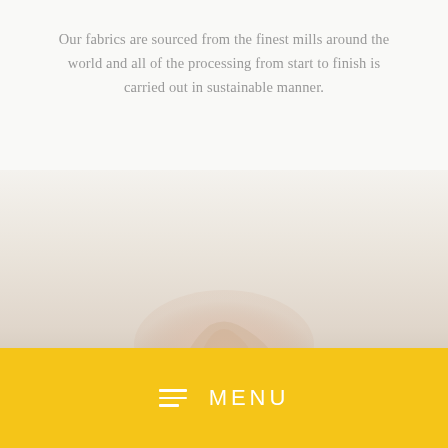Our fabrics are sourced from the finest mills around the world and all of the processing from start to finish is carried out in sustainable manner.
[Figure (photo): Faded background photo of a hand holding fabric or thread, with a light yellowish-grey tone. A golden/yellow menu bar overlays the bottom portion.]
≡  MENU